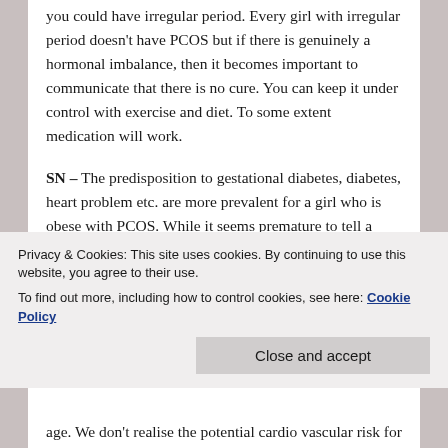you could have irregular period. Every girl with irregular period doesn't have PCOS but if there is genuinely a hormonal imbalance, then it becomes important to communicate that there is no cure. You can keep it under control with exercise and diet. To some extent medication will work.
SN – The predisposition to gestational diabetes, diabetes, heart problem etc. are more prevalent for a girl who is obese with PCOS. While it seems premature to tell a young girl all these things, these are the realities and they have to be aware that they setting themselves up for all these problems later on in life. If they get themselves a good fitness routine and a healthy diet, it will certainly help
Privacy & Cookies: This site uses cookies. By continuing to use this website, you agree to their use.
To find out more, including how to control cookies, see here: Cookie Policy
age. We don't realise the potential cardio vascular risk for